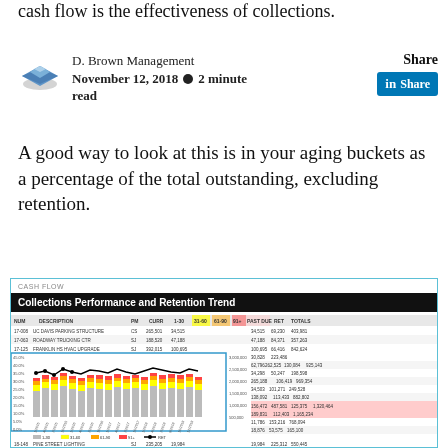cash flow is the effectiveness of collections.
D. Brown Management
November 12, 2018 • 2 minute read
A good way to look at this is in your aging buckets as a percentage of the total outstanding, excluding retention.
[Figure (screenshot): Collections Performance and Retention Trend dashboard showing a stacked bar chart with aging buckets (1-30, 31-60, 61-90, 91+) as percentages and a line for RET, alongside a table of project cash flow data.]